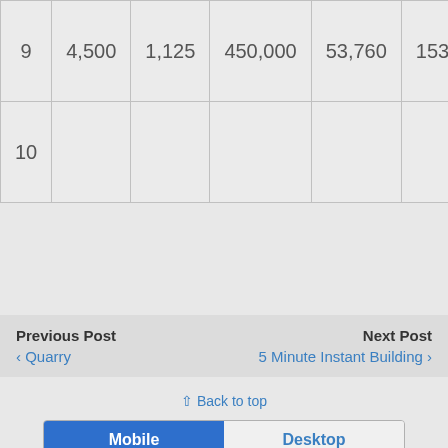| 9 | 4,500 | 1,125 | 450,000 | 53,760 | 153,600 |
| 10 |  |  |  |  |  |
Previous Post
‹ Quarry
Next Post
5 Minute Instant Building ›
⇧ Back to top
Mobile | Desktop